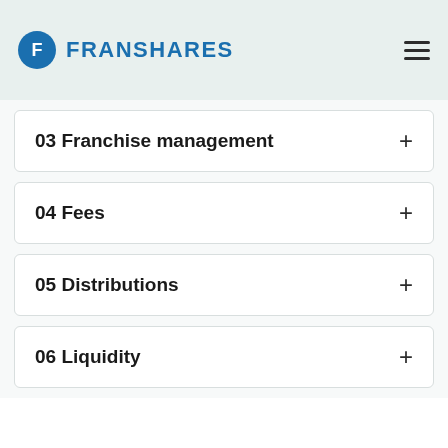FRANSHARES
03 Franchise management
04 Fees
05 Distributions
06 Liquidity